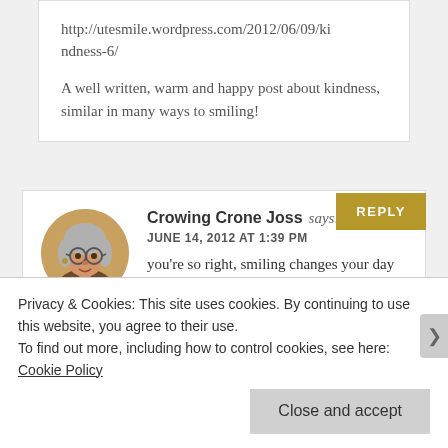http://utesmile.wordpress.com/2012/06/09/kindness-6/
A well written, warm and happy post about kindness, similar in many ways to smiling!
Crowing Crone Joss says:
JUNE 14, 2012 AT 1:39 PM
you're so right, smiling changes your day and the day of many others you come in contact with. smile on!
Privacy & Cookies: This site uses cookies. By continuing to use this website, you agree to their use.
To find out more, including how to control cookies, see here: Cookie Policy